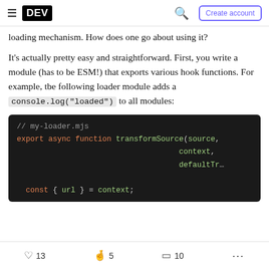DEV | Create account
loading mechanism. How does one go about using it?
It's actually pretty easy and straightforward. First, you write a module (has to be ESM!) that exports various hook functions. For example, the following loader module adds a console.log("loaded") to all modules:
[Figure (screenshot): Code block showing a JavaScript ESM loader module (my-loader.mjs) with export async function transformSource(source, context, defaultTr... and const { url } = context;]
13 likes  5 unicorns  10 bookmarks